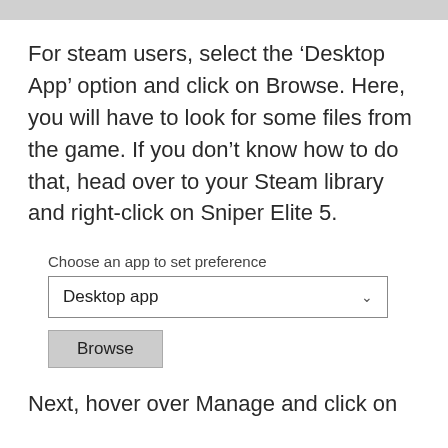For steam users, select the ‘Desktop App’ option and click on Browse. Here, you will have to look for some files from the game. If you don’t know how to do that, head over to your Steam library and right-click on Sniper Elite 5.
[Figure (screenshot): UI screenshot showing a dropdown labeled 'Choose an app to set preference' with 'Desktop app' selected, and a Browse button below.]
Next, hover over Manage and click on